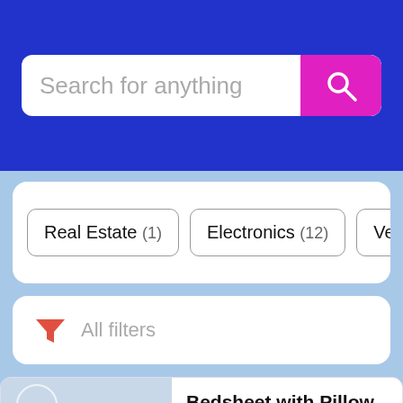[Figure (screenshot): Search bar with placeholder text 'Search for anything' and a magenta search button with magnifying glass icon on a blue background]
Real Estate (1)
Electronics (12)
Vehicles (
All filters
[Figure (photo): Bedsheet with yellow sunflower pattern on white/blue background]
Bedsheet with Pillow Cases Fo..
¢ 85
Tamale